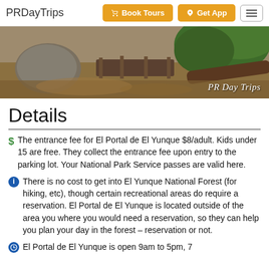PRDayTrips | Book Tours | Get App
[Figure (photo): Outdoor trail scene with rocks, fallen logs and trees, with PR Day Trips watermark]
Details
$ The entrance fee for El Portal de El Yunque $8/adult. Kids under 15 are free. They collect the entrance fee upon entry to the parking lot. Your National Park Service passes are valid here.
There is no cost to get into El Yunque National Forest (for hiking, etc), though certain recreational areas do require a reservation. El Portal de El Yunque is located outside of the area you where you would need a reservation, so they can help you plan your day in the forest – reservation or not.
El Portal de El Yunque is open 9am to 5pm, 7